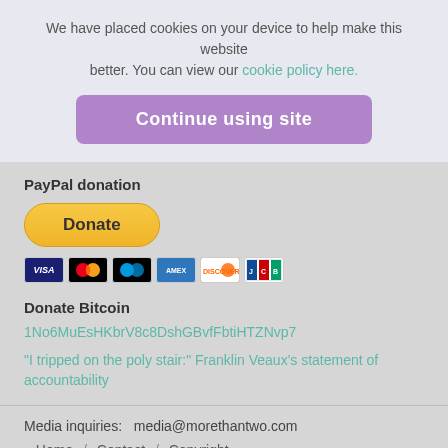We have placed cookies on your device to help make this website better. You can view our cookie policy here.
Continue using site
PayPal donation
[Figure (other): PayPal Donate button (gold/yellow rounded rectangle) with payment card icons below (Visa, Mastercard, Maestro, Amex, Discover, JCB)]
Donate Bitcoin
1No6MuEsHKbrV8c8DshGBvfFbtiHTZNvp7
"I tripped on the poly stair:" Franklin Veaux's statement of accountability
Media inquiries:   media@morethantwo.com
Home / Contact / Copyright
[Figure (other): Social media icons: Facebook, Twitter, Instagram, Medium, Quora]